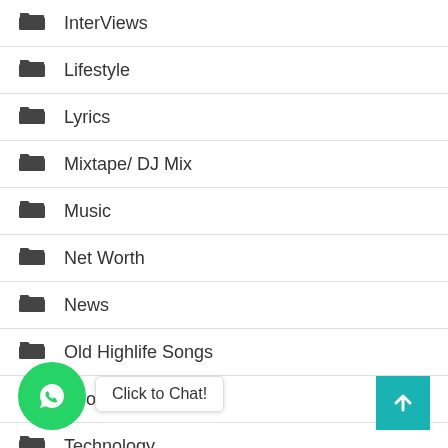InterViews
Lifestyle
Lyrics
Mixtape/ DJ Mix
Music
Net Worth
News
Old Highlife Songs
Sports
Technology
Uncategorized